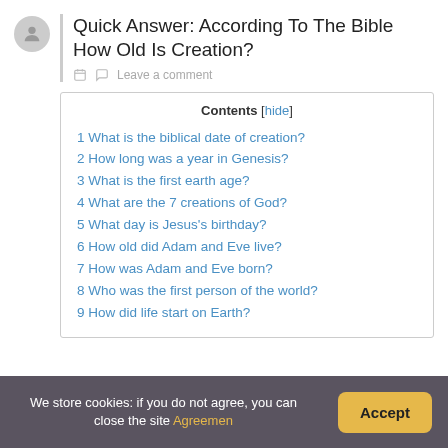Quick Answer: According To The Bible How Old Is Creation?
Leave a comment
Contents [hide]
1 What is the biblical date of creation?
2 How long was a year in Genesis?
3 What is the first earth age?
4 What are the 7 creations of God?
5 What day is Jesus's birthday?
6 How old did Adam and Eve live?
7 How was Adam and Eve born?
8 Who was the first person of the world?
9 How did life start on Earth?
We store cookies: if you do not agree, you can close the site Agreemen